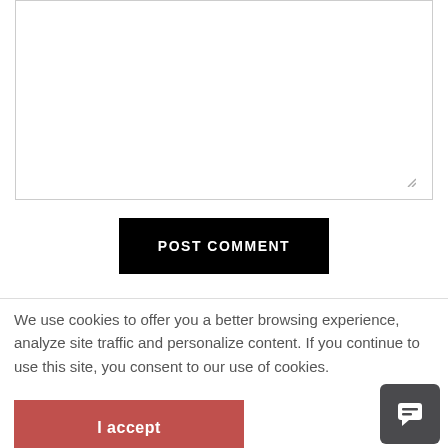[Figure (screenshot): Textarea input box with resize handle at bottom right]
POST COMMENT
We use cookies to offer you a better browsing experience, analyze site traffic and personalize content. If you continue to use this site, you consent to our use of cookies.
I accept
[Figure (other): Dark grey chat/message button with speech bubble icon, positioned bottom right]